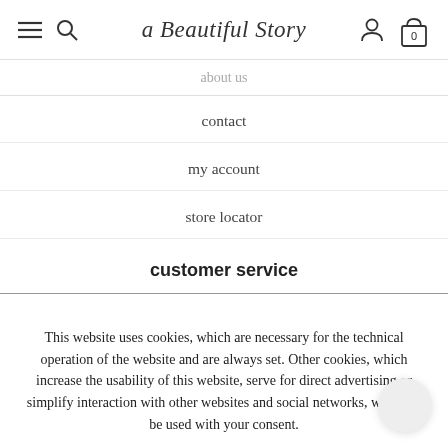a Beautiful Story — navigation header with hamburger, search, user icon, cart (0)
about us
contact
my account
store locator
customer service
This website uses cookies, which are necessary for the technical operation of the website and are always set. Other cookies, which increase the usability of this website, serve for direct advertising or simplify interaction with other websites and social networks, will only be used with your consent.